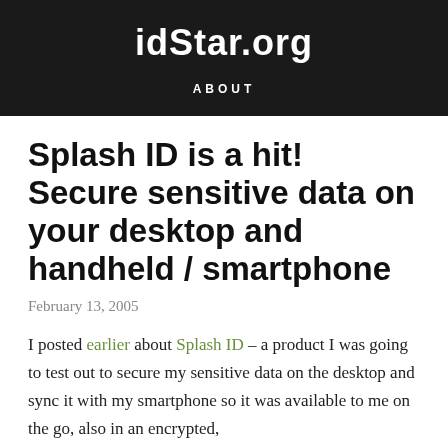idStar.org
ABOUT
Splash ID is a hit! Secure sensitive data on your desktop and handheld / smartphone
February 13, 2005
I posted earlier about Splash ID – a product I was going to test out to secure my sensitive data on the desktop and sync it with my smartphone so it was available to me on the go, also in an encrypted,